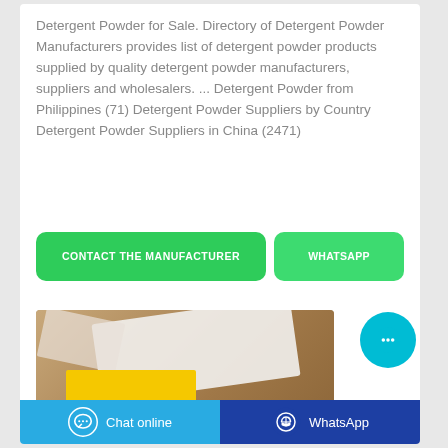Detergent Powder for Sale. Directory of Detergent Powder Manufacturers provides list of detergent powder products supplied by quality detergent powder manufacturers, suppliers and wholesalers. ... Detergent Powder from Philippines (71) Detergent Powder Suppliers by Country Detergent Powder Suppliers in China (2471)
[Figure (other): Two green buttons: 'CONTACT THE MANUFACTURER' and 'WHATSAPP']
[Figure (photo): Photo of a yellow detergent powder box with white cloth/fabric on a wooden table surface]
[Figure (other): Cyan circular chat bubble icon with three dots]
[Figure (other): Bottom bar with two buttons: blue 'Chat online' with chat icon and dark blue 'WhatsApp' with WhatsApp icon]